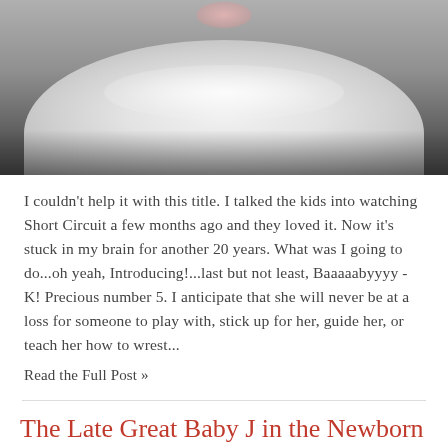[Figure (photo): Black and white photo of a newborn baby wrapped in a fluffy white blanket/fabric mound, photographed from above on a dark reflective surface]
I couldn't help it with this title. I talked the kids into watching Short Circuit a few months ago and they loved it. Now it's stuck in my brain for another 20 years. What was I going to do...oh yeah, Introducing!...last but not least, Baaaaabyyyy - K! Precious number 5. I anticipate that she will never be at a loss for someone to play with, stick up for her, guide her, or teach her how to wrest...
Read the Full Post »
The Late Great Baby J in the Newborn Studio Today